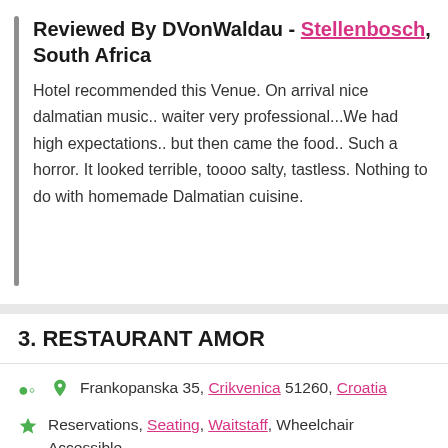Reviewed By DVonWaldau - Stellenbosch, South Africa
Hotel recommended this Venue. On arrival nice dalmatian music.. waiter very professional...We had high expectations.. but then came the food.. Such a horror. It looked terrible, toooo salty, tastless. Nothing to do with homemade Dalmatian cuisine.
3. RESTAURANT AMOR
Frankopanska 35, Crikvenica 51260, Croatia
Reservations, Seating, Waitstaff, Wheelchair Accessible
Mediterranean, European, Croatian, Italian, Seafood
Lunch, Dinner
+385 51 242 017